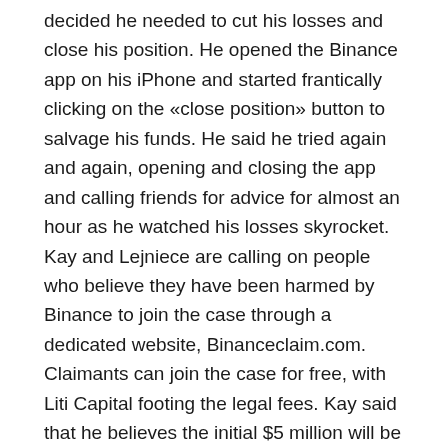decided he needed to cut his losses and close his position. He opened the Binance app on his iPhone and started frantically clicking on the «close position» button to salvage his funds. He said he tried again and again, opening and closing the app and calling friends for advice for almost an hour as he watched his losses skyrocket. Kay and Lejniece are calling on people who believe they have been harmed by Binance to join the case through a dedicated website, Binanceclaim.com. Claimants can join the case for free, with Liti Capital footing the legal fees. Kay said that he believes the initial $5 million will be enough to cover «thousands» of claimants but that Liti Capital will add more funds if needed. If the group succeeds, Liti Capital will take a 30 percent cut of the damages.
«The fees weren't too crazy, and the platform seemed pretty stable,» she said. «Everything was going binance review